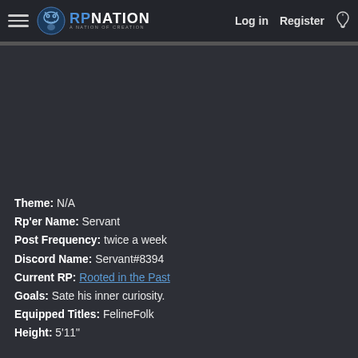RPNation - Log in - Register
Theme: N/A
Rp'er Name: Servant
Post Frequency: twice a week
Discord Name: Servant#8394
Current RP: Rooted in the Past
Goals: Sate his inner curiosity.
Equipped Titles: FelineFolk
Height: 5'11"